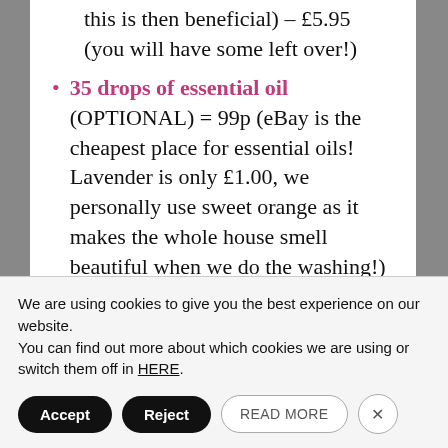this is then beneficial) – £5.95 (you will have some left over!)
35 drops of essential oil (OPTIONAL) = 99p (eBay is the cheapest place for essential oils! Lavender is only £1.00, we personally use sweet orange as it makes the whole house smell beautiful when we do the washing!)
= 6.5kg approx of 4 in 1 washing powder (plus in built conditioner, water softener and stain removal) for £16.86
We are using cookies to give you the best experience on our website.
You can find out more about which cookies we are using or switch them off in HERE.